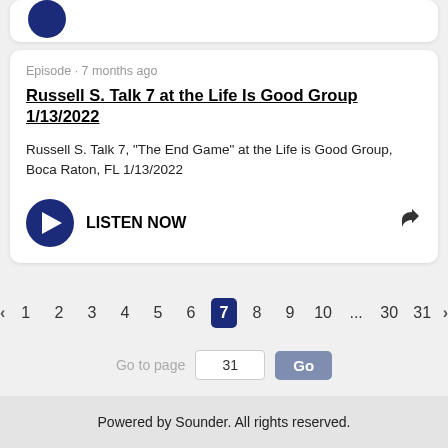Episode · 7 months ago
Russell S. Talk 7 at the Life Is Good Group 1/13/2022
Russell S. Talk 7, "The End Game" at the Life is Good Group, Boca Raton, FL 1/13/2022
LISTEN NOW
‹ 1 2 3 4 5 6 7 8 9 10 ... 30 31 ›
Go to page  31  Go
Powered by Sounder. All rights reserved.